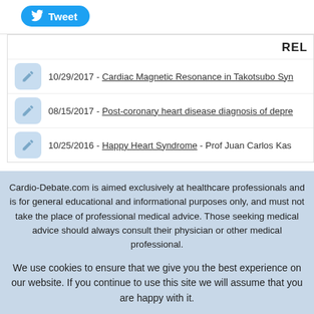[Figure (other): Twitter Tweet button with bird icon]
REL
10/29/2017 - Cardiac Magnetic Resonance in Takotsubo Syn…
08/15/2017 - Post-coronary heart disease diagnosis of depre…
10/25/2016 - Happy Heart Syndrome - Prof Juan Carlos Kas…
Cardio-Debate.com is aimed exclusively at healthcare professionals and is for general educational and informational purposes only, and must not take the place of professional medical advice. Those seeking medical advice should always consult their physician or other medical professional.
We use cookies to ensure that we give you the best experience on our website. If you continue to use this site we will assume that you are happy with it.
Accept